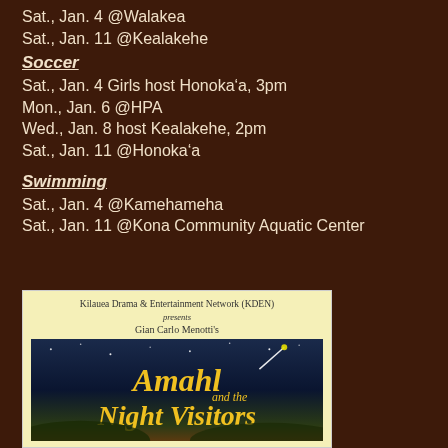Sat., Jan. 4 @Walakea
Sat., Jan. 11 @Kealakehe
Soccer
Sat., Jan. 4 Girls host Honoka‘a, 3pm
Mon., Jan. 6 @HPA
Wed., Jan. 8 host Kealakehe, 2pm
Sat., Jan. 11 @Honoka‘a
Swimming
Sat., Jan. 4 @Kamehameha
Sat., Jan. 11 @Kona Community Aquatic Center
[Figure (illustration): Poster for Kilauea Drama & Entertainment Network (KDEN) presenting Gian Carlo Menotti's 'Amahl and the Night Visitors'. Yellow background with organization name and composer credit above a dark blue illustrated banner showing the show title in stylized yellow lettering with a comet.]